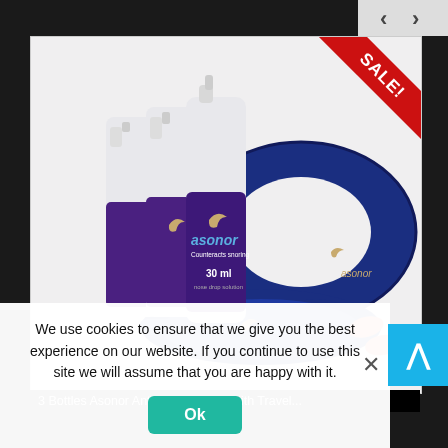[Figure (photo): Navigation bar with back and forward arrow buttons on light gray background, top right corner]
[Figure (photo): Product photo showing three Asonor 30ml nose drop solution bottles (purple label with moon logo, 'Counteracts snoring'), a blue inflatable travel neck pillow, a blue satin sleep eye mask branded 'asonor', and two orange foam ear plugs. Red SALE! ribbon in top-right corner of image.]
We use cookies to ensure that we give you the best experience on our website. If you continue to use this site we will assume that you are happy with it.
Ok